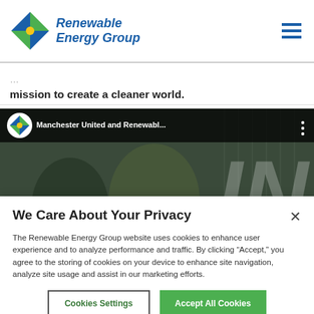[Figure (logo): Renewable Energy Group logo with diamond-shaped icon in blue, green, and yellow, and blue italic bold text 'Renewable Energy Group']
mission to create a cleaner world.
[Figure (screenshot): YouTube video thumbnail showing Manchester United and Renewable Energy Group partnership. Dark overlay bar at top with REG logo circle and title 'Manchester United and Renewabl...' and three-dot menu. Background shows people in green/dark setting with large white 'IN' text partially visible.]
We Care About Your Privacy
The Renewable Energy Group website uses cookies to enhance user experience and to analyze performance and traffic. By clicking "Accept," you agree to the storing of cookies on your device to enhance site navigation, analyze site usage and assist in our marketing efforts.
Cookies Settings
Accept All Cookies